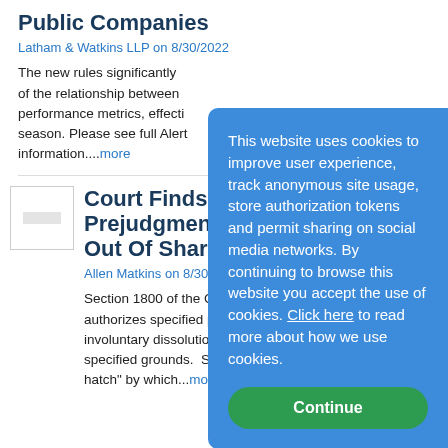Public Companies
Latham & Watkins LLP on 8/30/2022
The new rules significantly of the relationship between performance metrics, effectively season. Please see full Alert information....more
Court Finds No R Prejudgment In Out Of Shares
Allen Matkins on 8/30/2022
Section 1800 of the California authorizes specified persons involuntary dissolution of th specified grounds. Section hatch" by which...more
This website uses cookies to improve user experience, track anonymous site usage, store authorization tokens and permit sharing on social media networks. By continuing to browse this website you accept the use of cookies. Click here to read more about how we use cookies. Continue